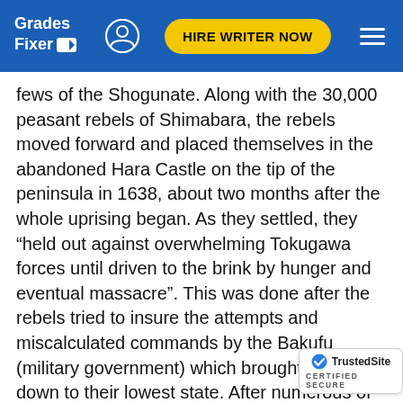Grades Fixer | HIRE WRITER NOW
fews of the Shogunate. Along with the 30,000 peasant rebels of Shimabara, the rebels moved forward and placed themselves in the abandoned Hara Castle on the tip of the peninsula in 1638, about two months after the whole uprising began. As they settled, they “held out against overwhelming Tokugawa forces until driven to the brink by hunger and eventual massacre”. This was done after the rebels tried to insure the attempts and miscalculated commands by the Bakufu (military government) which brought them down to their lowest state. After numerous of attempts and the will to maintain their fortress, it came to an end.This was due to the rebel force, though maintaining good coordinated defence against the attackers, had no logistical support, which fall of Hara Castle presumed. An important